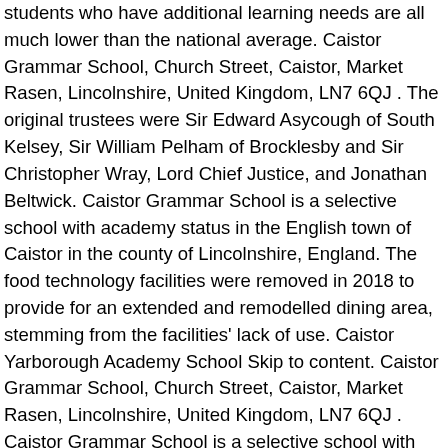students who have additional learning needs are all much lower than the national average. Caistor Grammar School, Church Street, Caistor, Market Rasen, Lincolnshire, United Kingdom, LN7 6QJ . The original trustees were Sir Edward Asycough of South Kelsey, Sir William Pelham of Brocklesby and Sir Christopher Wray, Lord Chief Justice, and Jonathan Beltwick. Caistor Grammar School is a selective school with academy status in the English town of Caistor in the county of Lincolnshire, England. The food technology facilities were removed in 2018 to provide for an extended and remodelled dining area, stemming from the facilities' lack of use. Caistor Yarborough Academy School Skip to content. Caistor Grammar School, Church Street, Caistor, Market Rasen, Lincolnshire, United Kingdom, LN7 6QJ . Caistor Grammar School is a selective school with academy status in the English town of Caistor in the county of Lincolnshire, England. The school has been awarded specialist sports and humanities status. The